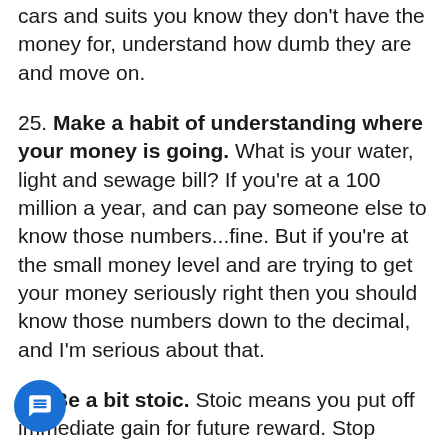cars and suits you know they don't have the money for, understand how dumb they are and move on.
25. Make a habit of understanding where your money is going. What is your water, light and sewage bill? If you're at a 100 million a year, and can pay someone else to know those numbers...fine. But if you're at the small money level and are trying to get your money seriously right then you should know those numbers down to the decimal, and I'm serious about that.
26. Be a bit stoic. Stoic means you put off immediate gain for future reward. Stop saying YOLO, and live